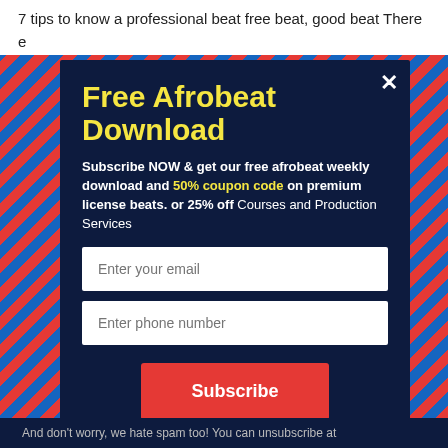7 tips to know a professional beat free beat, good beat There e... e... b... d... T... h...
[Figure (screenshot): Modal popup overlay with diagonal red and blue stripe border on dark navy background]
Free Afrobeat Download
Subscribe NOW & get our free afrobeat weekly download and 50% coupon code on premium license beats. or 25% off Courses and Production Services
Enter your email
Enter phone number
Subscribe
And don't worry, we hate spam too! You can unsubscribe at